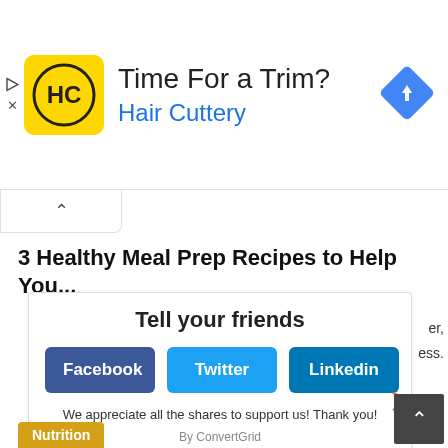[Figure (infographic): Hair Cuttery advertisement banner with yellow logo showing HC initials, headline 'Time For a Trim?' and blue subtext 'Hair Cuttery', with navigation diamond icon on right, and play/close controls on left]
3 Healthy Meal Prep Recipes to Help You...
Tell your friends
[Figure (screenshot): Social share popup with Facebook, Twitter, and Linkedin buttons]
We appreciate all the shares to support us! Thank you!
By ConvertGrid
Nutrition